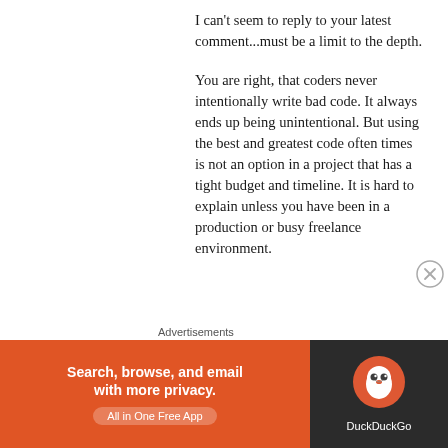I can't seem to reply to your latest comment...must be a limit to the depth.
You are right, that coders never intentionally write bad code. It always ends up being unintentional. But using the best and greatest code often times is not an option in a project that has a tight budget and timeline. It is hard to explain unless you have been in a production or busy freelance environment.
Advertisements
[Figure (infographic): DuckDuckGo advertisement banner. Left side orange background with white bold text: 'Search, browse, and email with more privacy.' and a pill-shaped button 'All in One Free App'. Right side dark background with DuckDuckGo duck logo and 'DuckDuckGo' text.]